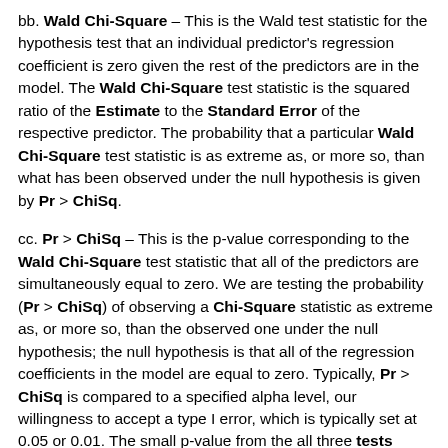bb. Wald Chi-Square – This is the Wald test statistic for the hypothesis test that an individual predictor's regression coefficient is zero given the rest of the predictors are in the model. The Wald Chi-Square test statistic is the squared ratio of the Estimate to the Standard Error of the respective predictor. The probability that a particular Wald Chi-Square test statistic is as extreme as, or more so, than what has been observed under the null hypothesis is given by Pr > ChiSq.
cc. Pr > ChiSq – This is the p-value corresponding to the Wald Chi-Square test statistic that all of the predictors are simultaneously equal to zero. We are testing the probability (Pr > ChiSq) of observing a Chi-Square statistic as extreme as, or more so, than the observed one under the null hypothesis; the null hypothesis is that all of the regression coefficients in the model are equal to zero. Typically, Pr > ChiSq is compared to a specified alpha level, our willingness to accept a type I error, which is typically set at 0.05 or 0.01. The small p-value from the all three tests would lead us to conclude that at least one of the regression coefficients in the model is not equal to